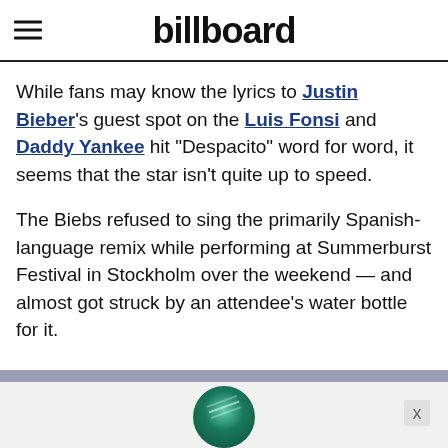billboard
While fans may know the lyrics to Justin Bieber's guest spot on the Luis Fonsi and Daddy Yankee hit “Despacito” word for word, it seems that the star isn’t quite up to speed.
The Biebs refused to sing the primarily Spanish-language remix while performing at Summerburst Festival in Stockholm over the weekend — and almost got struck by an attendee’s water bottle for it.
[Figure (other): Partial advertisement banner at the bottom of the page with a circular green/teal graphic and a close button marked X]